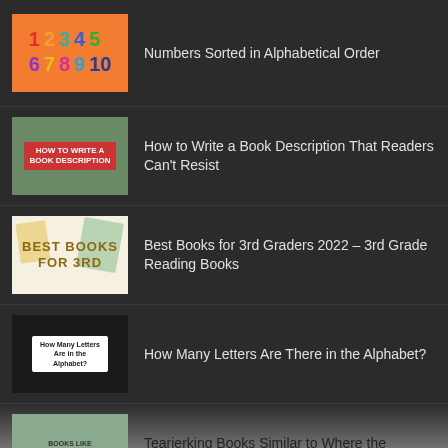[Figure (illustration): Orange background thumbnail with colored numbers 1-10 arranged in two rows]
Numbers Sorted in Alphabetical Order
[Figure (photo): Photo of person in library with red banner text 'How to Write a Book Description']
How to Write a Book Description That Readers Can't Resist
[Figure (illustration): Cream background with text 'BEST BOOKS FOR 3RD' and decorative shapes]
Best Books for 3rd Graders 2022 – 3rd Grade Reading Books
[Figure (illustration): Dark chalkboard background with hand holding sign 'How Many Letters Are in the Alphabet?']
How Many Letters Are There in the Alphabet?
[Figure (illustration): Partial thumbnail for Tearjerking Books Similar to Where the Crawdads Sings]
Tearjerking Books Similar to Where the Crawdads Sings